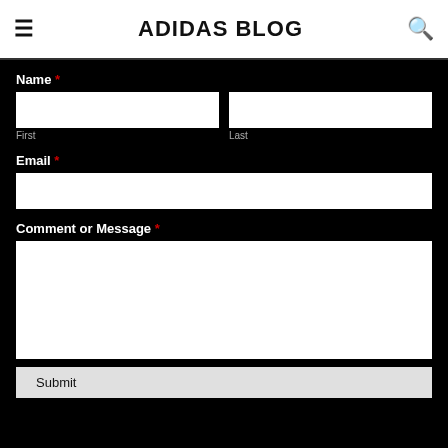ADIDAS BLOG
Name *
First
Last
Email *
Comment or Message *
Submit